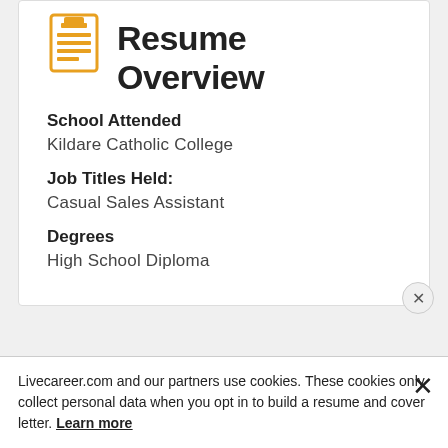Resume Overview
School Attended
Kildare Catholic College
Job Titles Held:
Casual Sales Assistant
Degrees
High School Diploma
Livecareer.com and our partners use cookies. These cookies only collect personal data when you opt in to build a resume and cover letter. Learn more